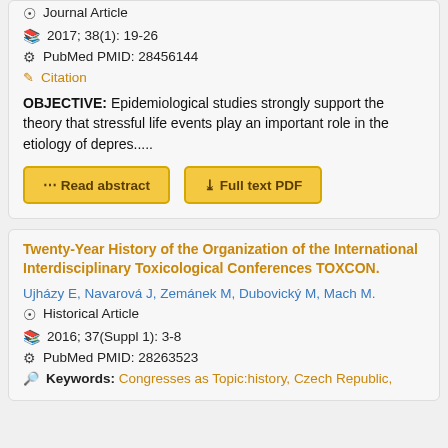Journal Article
2017; 38(1): 19-26
PubMed PMID: 28456144
Citation
OBJECTIVE: Epidemiological studies strongly support the theory that stressful life events play an important role in the etiology of depres.....
Read abstract
Full text PDF
Twenty-Year History of the Organization of the International Interdisciplinary Toxicological Conferences TOXCON.
Ujházy E, Navarová J, Zemánek M, Dubovický M, Mach M.
Historical Article
2016; 37(Suppl 1): 3-8
PubMed PMID: 28263523
Keywords: Congresses as Topic:history, Czech Republic,